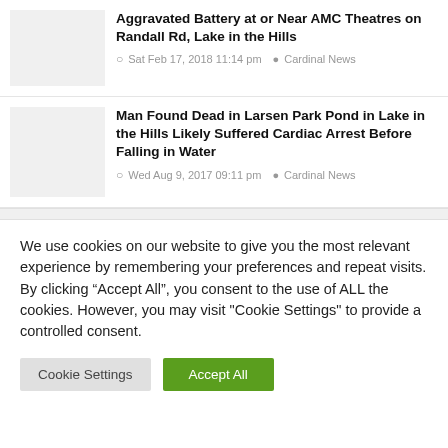Aggravated Battery at or Near AMC Theatres on Randall Rd, Lake in the Hills
Sat Feb 17, 2018 11:14 pm   Cardinal News
Man Found Dead in Larsen Park Pond in Lake in the Hills Likely Suffered Cardiac Arrest Before Falling in Water
Wed Aug 9, 2017 09:11 pm   Cardinal News
We use cookies on our website to give you the most relevant experience by remembering your preferences and repeat visits. By clicking “Accept All”, you consent to the use of ALL the cookies. However, you may visit "Cookie Settings" to provide a controlled consent.